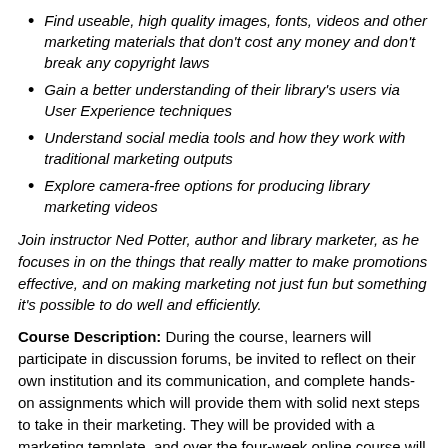Find useable, high quality images, fonts, videos and other marketing materials that don't cost any money and don't break any copyright laws
Gain a better understanding of their library's users via User Experience techniques
Understand social media tools and how they work with traditional marketing outputs
Explore camera-free options for producing library marketing videos
Join instructor Ned Potter, author and library marketer, as he focuses in on the things that really matter to make promotions effective, and on making marketing not just fun but something it's possible to do well and efficiently.
Course Description: During the course, learners will participate in discussion forums, be invited to reflect on their own institution and its communication, and complete hands-on assignments which will provide them with solid next steps to take in their marketing. They will be provided with a marketing template, and over the four-week online course will develop the knowledge and understanding to fill it out, so that by the end of the course they will be in a position to launch a successful marketing campaign for